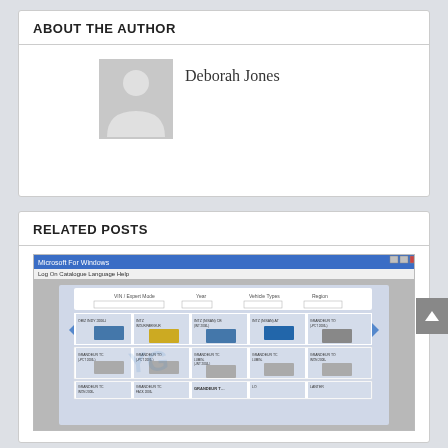ABOUT THE AUTHOR
Deborah Jones
RELATED POSTS
[Figure (screenshot): Screenshot of a car catalogue application window showing vehicle thumbnails in a grid, with filters for VIN/Expert Mode, Year, Vehicle Types, and Region.]